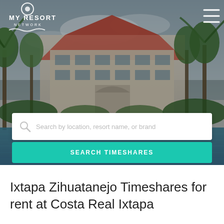[Figure (photo): Hero image of a tropical resort with palm trees, a multi-story building with red roof, and a swimming pool in the foreground. My Resort Network logo in top left, hamburger menu in top right.]
[Figure (screenshot): Search bar with placeholder text 'Search by location, resort name, or brand' and a teal 'SEARCH TIMESHARES' button below it.]
Ixtapa Zihuatanejo Timeshares for rent at Costa Real Ixtapa